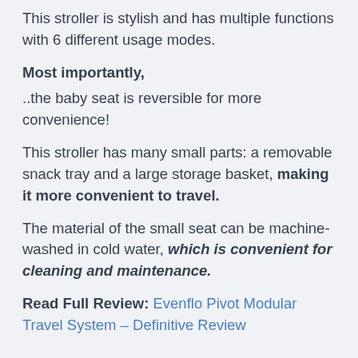This stroller is stylish and has multiple functions with 6 different usage modes.
Most importantly,
..the baby seat is reversible for more convenience!
This stroller has many small parts: a removable snack tray and a large storage basket, making it more convenient to travel.
The material of the small seat can be machine-washed in cold water, which is convenient for cleaning and maintenance.
Read Full Review: Evenflo Pivot Modular Travel System – Definitive Review